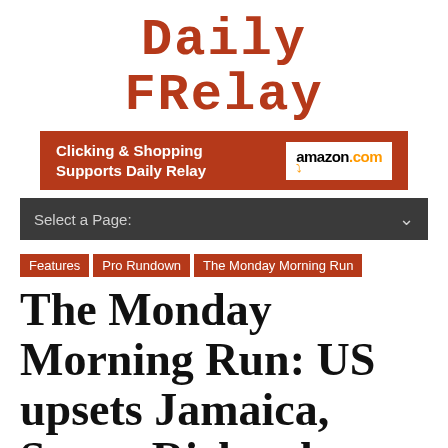Daily Relay
[Figure (other): Amazon.com advertisement banner: 'Clicking & Shopping Supports Daily Relay' with amazon.com logo]
Select a Page:
Features
Pro Rundown
The Monday Morning Run
The Monday Morning Run: US upsets Jamaica, Sanya Richards-